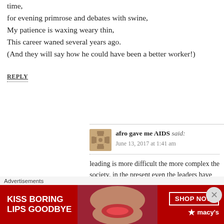time,
for evening primrose and debates with swine,
My patience is waxing weary thin,
This career waned several years ago.
(And they will say how he could have been a better worker!)
REPLY
afro gave me AIDS said:
June 13, 2017 at 1:41 am
leading is more difficult the more complex the society. in the present even the leaders have no idea how the system works. the leaders are
Advertisements
[Figure (other): Macy's advertisement banner: red background, woman with red lips, text 'KISS BORING LIPS GOODBYE', 'SHOP NOW' button, Macy's star logo]